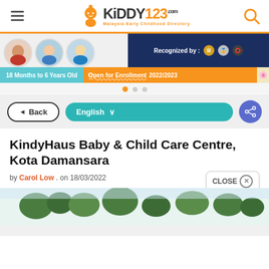KiDDY123.com — Malaysia Early Childhood Directory
[Figure (screenshot): Banner advertisement: children learning images, '18 Months to 6 Years Old', 'Open for Enrollment 2022/2023', 'Recognized by' logos on dark blue background]
Back | English ▾ | share button
KindyHaus Baby & Child Care Centre, Kota Damansara
by Carol Low . on 18/03/2022
[Figure (photo): Exterior photo of KindyHaus Baby & Child Care Centre with trees visible]